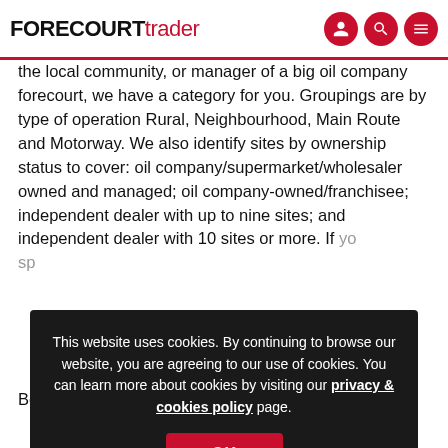FORECOURT trader
the local community, or manager of a big oil company forecourt, we have a category for you. Groupings are by type of operation Rural, Neighbourhood, Main Route and Motorway. We also identify sites by ownership status to cover: oil company/supermarket/wholesaler owned and managed; oil company-owned/franchisee; independent dealer with up to nine sites; and independent dealer with 10 sites or more. If yo... sp...
This website uses cookies. By continuing to browse our website, you are agreeing to our use of cookies. You can learn more about cookies by visiting our privacy & cookies policy page.
Be...